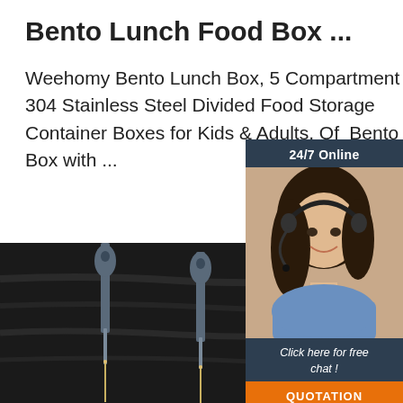Bento Lunch Food Box ...
Weehomy Bento Lunch Box, 5 Compartment 304 Stainless Steel Divided Food Storage Container Boxes for Kids & Adults, Off Bento Box with ...
Get Price
[Figure (photo): Chat widget with 24/7 Online label, photo of smiling woman with headset, 'Click here for free chat!' text, and orange QUOTATION button]
[Figure (photo): Dark background product image showing several thin elongated tools/instruments (appears to be food thermometers or similar kitchen tools) with a TOP logo watermark]